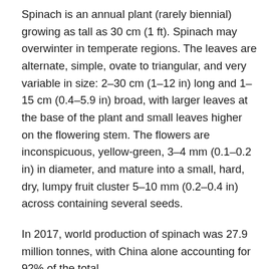Spinach is an annual plant (rarely biennial) growing as tall as 30 cm (1 ft). Spinach may overwinter in temperate regions. The leaves are alternate, simple, ovate to triangular, and very variable in size: 2–30 cm (1–12 in) long and 1–15 cm (0.4–5.9 in) broad, with larger leaves at the base of the plant and small leaves higher on the flowering stem. The flowers are inconspicuous, yellow-green, 3–4 mm (0.1–0.2 in) in diameter, and mature into a small, hard, dry, lumpy fruit cluster 5–10 mm (0.2–0.4 in) across containing several seeds.
In 2017, world production of spinach was 27.9 million tonnes, with China alone accounting for 92% of the total.
Fresh spinach is sold loose, bunched, or packaged fresh in bags. Fresh spinach loses much of its nutritional value with storage of more than a few days. Fresh spinach is packaged in air, or in nitrogen gas to extend shelf life. While